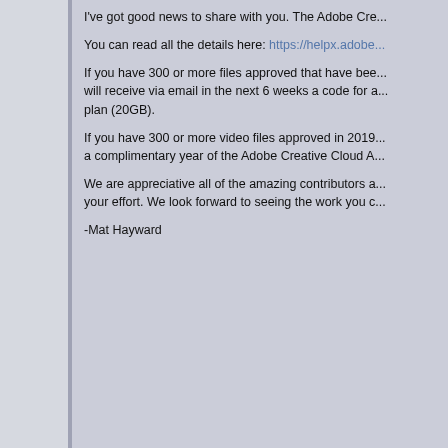I've got good news to share with you. The Adobe Cre...
You can read all the details here: https://helpx.adobe...
If you have 300 or more files approved that have bee... will receive via email in the next 6 weeks a code for a... plan (20GB).
If you have 300 or more video files approved in 2019... a complimentary year of the Adobe Creative Cloud A...
We are appreciative all of the amazing contributors a... your effort. We look forward to seeing the work you c...
-Mat Hayward
This is great news, Mat. I've enjoyed my com... qualify again.
Sean Locke Photography
« Reply #2 on: August 08, 2019, 10:12 »
Dang, I don't have that many video uploads t...